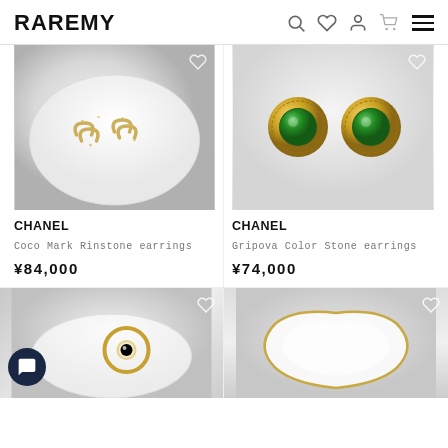RAREMY
[Figure (photo): Chanel CC rhinestone earrings on white ceramic dish with fur background]
[Figure (photo): Chanel Gripova color stone earrings – gold circular frame with green stone center, on white background]
CHANEL
Coco Mark Rinstone earrings
¥84,000
CHANEL
Gripova Color Stone earrings
¥74,000
[Figure (photo): Gold chain earrings with pearl on white ceramic dish with fur background]
[Figure (photo): Gold outlined white ceramic dish shape on fur background]